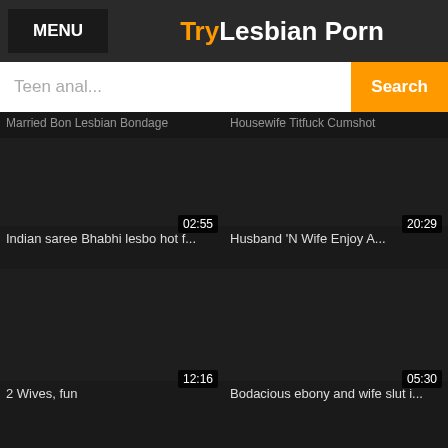MENU | TryLesbian Porn
Teen anal... Search
Married Bon Lesbian Bondage
Housewife Titfuck Cumshot
[Figure (screenshot): Video thumbnail dark, duration 02:55]
[Figure (screenshot): Video thumbnail dark, duration 20:29]
Indian saree Bhabhi lesbo hot f...
Husband &#039;N Wife Enjoy A...
[Figure (screenshot): Video thumbnail dark, duration 12:16]
[Figure (screenshot): Video thumbnail dark, duration 05:30]
2 Wives, fun
Bodacious ebony and wife slut i...